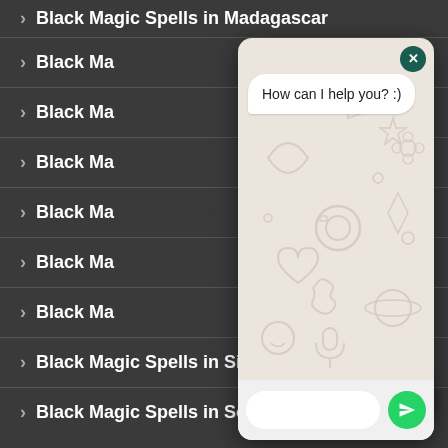> Black Magic Spells in Madagascar
> Black Ma...
> Black Ma...
> Black Ma...
> Black Ma...
> Black Ma...
> Black Ma...
> Black Magic Spells in Singapore
> Black Magic Spells in South Africa
[Figure (screenshot): WhatsApp chat widget popup with 'How can I help you? :)' message bubble, WhatsApp doodle background, text input field, and send button. A close (X) button in dark green is in the top right corner.]
[Figure (logo): WhatsApp floating action button - green circle with WhatsApp phone handset icon]